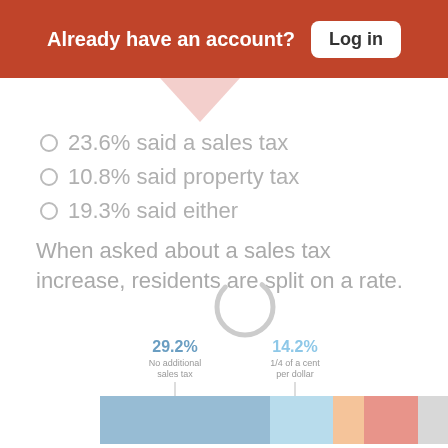Already have an account? Log in
23.6% said a sales tax
10.8% said property tax
19.3% said either
When asked about a sales tax increase, residents are split on a rate.
[Figure (stacked-bar-chart): Sales tax rate preference]